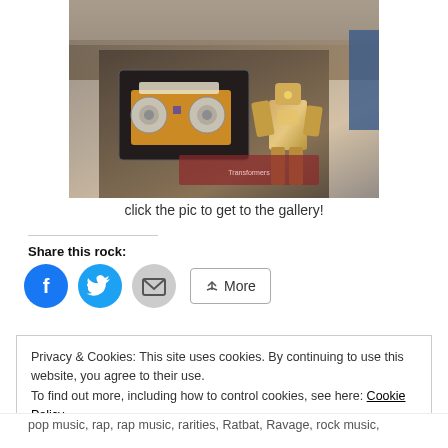[Figure (photo): Convention display showing a golden/bronze Transformers toy figure alongside what appears to be a cassette tape prop display case on a table, with crowd in background]
click the pic to get to the gallery!
Share this rock:
[Figure (infographic): Share buttons row: Facebook (blue circle), Twitter (blue circle), Email (grey circle), More button]
Privacy & Cookies: This site uses cookies. By continuing to use this website, you agree to their use.
To find out more, including how to control cookies, see here: Cookie Policy
Close and accept
pop music, rap, rap music, rarities, Ratbat, Ravage, rock music,